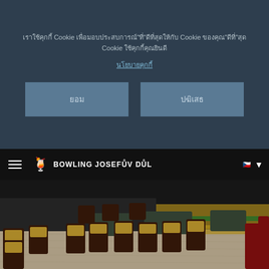เราใช้คุกกี้ Cookie เพื่อมอบประสบการณ์"ที่"ดีที่สุดให้กับ Cookie ของคุณ"ดีที่"สุด Cookie ใช้คุกกี้คุณยินดี
นโยบายคุกกี้
ยอม
ปฏิเสธ
BOWLING JOSEFŮV DŮL
[Figure (photo): Interior of Bowling Josefův Důl restaurant showing wooden chairs with yellow seat cushions, dark wood tables, light wood flooring, and a bowling alley visible in the background with green and yellow lanes.]